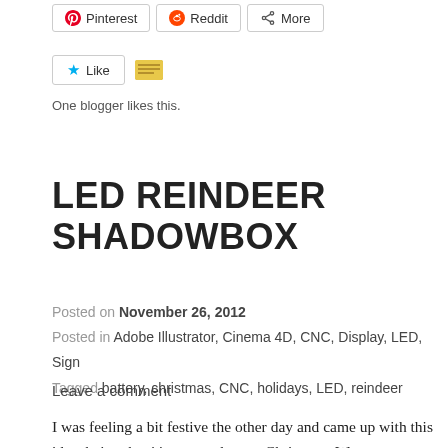[Figure (screenshot): Social share buttons: Pinterest, Reddit, More]
[Figure (screenshot): Like button with star icon and user avatar]
One blogger likes this.
LED REINDEER SHADOWBOX
Posted on November 26, 2012
Posted in Adobe Illustrator, Cinema 4D, CNC, Display, LED, Sign
Tagged battery, christmas, CNC, holidays, LED, reindeer
Leave a comment
I was feeling a bit festive the other day and came up with this idea, being that it's soooo close to Christmas. Wo